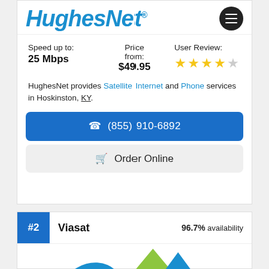[Figure (logo): HughesNet logo in blue italic bold text with registered trademark symbol, and a hamburger menu icon in black circle]
Speed up to: 25 Mbps | Price from: $49.95 | User Review: 4 out of 5 stars
HughesNet provides Satellite Internet and Phone services in Hoskinston, KY.
(855) 910-6892
Order Online
#2 Viasat  96.7% availability
[Figure (logo): Bottom of Viasat logo visible, showing partial green and blue curved shapes]